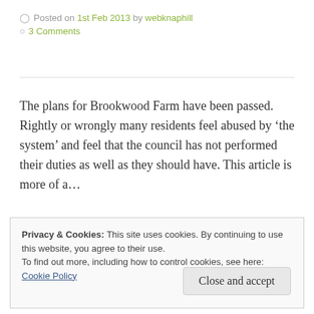Posted on 1st Feb 2013 by webknaphill
3 Comments
The plans for Brookwood Farm have been passed. Rightly or wrongly many residents feel abused by ‘the system’ and feel that the council has not performed their duties as well as they should have. This article is more of a…
Read More
Privacy & Cookies: This site uses cookies. By continuing to use this website, you agree to their use.
To find out more, including how to control cookies, see here: Cookie Policy
Close and accept